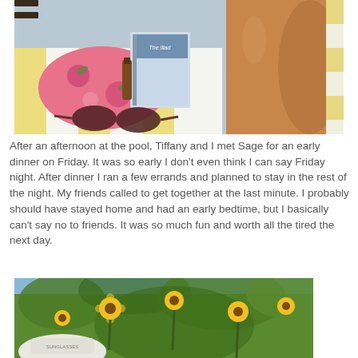[Figure (photo): Photo of pool items on a striped towel: a book titled 'The Iliad', sunscreen bottle, pink floral bag, sunglasses, and tanned legs visible on the right side.]
After an afternoon at the pool, Tiffany and I met Sage for an early dinner on Friday. It was so early I don't even think I can say Friday night. After dinner I ran a few errands and planned to stay in the rest of the night. My friends called to get together at the last minute. I probably should have stayed home and had an early bedtime, but I basically can't say no to friends. It was so much fun and worth all the tired the next day.
[Figure (photo): Photo of yellow sunflowers growing outdoors with green foliage and a blue sky background, and someone in a white hat visible at the bottom left.]